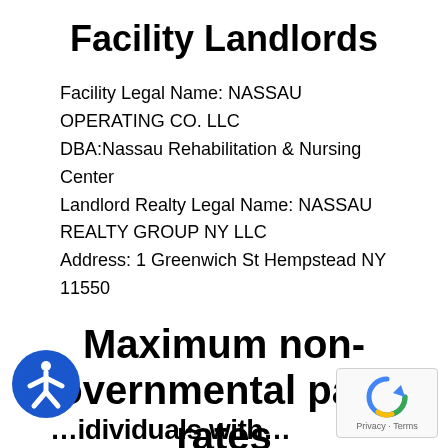Facility Landlords
Facility Legal Name: NASSAU OPERATING CO. LLC
DBA:Nassau Rehabilitation & Nursing Center
Landlord Realty Legal Name: NASSAU REALTY GROUP NY LLC
Address: 1 Greenwich St Hempstead NY 11550
Maximum non-governmental payer rates
Semi Private: $400
Private: $475